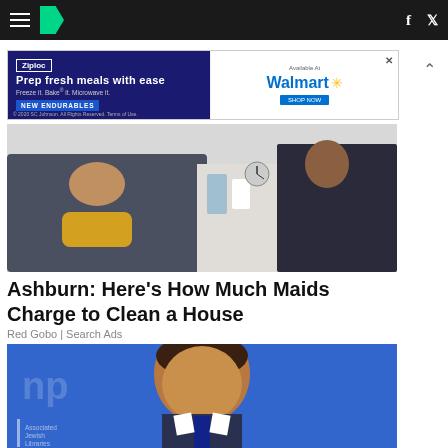HuffPost navigation with hamburger menu, logo, Facebook and Twitter icons
[Figure (photo): Advertisement banner for Ziploc Endurables available at Walmart. Text: Prep fresh meals with ease. Freeze it. Bake it. Microwave it. NEW ENDURABLES.]
[Figure (photo): Two cleaning workers/maids in a commercial kitchen wearing dark uniforms, one wearing yellow rubber gloves with arms crossed.]
Ashburn: Here's How Much Maids Charge to Clean a House
Red Gobo | Search Ads
[Figure (photo): A man in a suit speaking at a press conference in front of a blue banner background.]